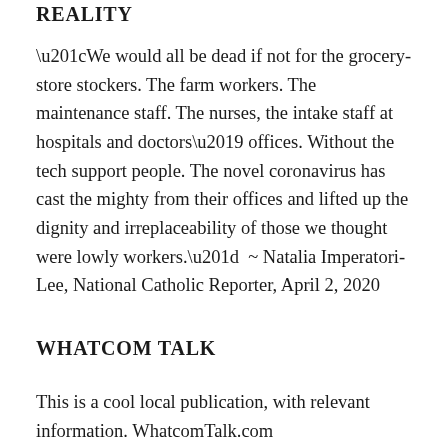REALITY
“We would all be dead if not for the grocery-store stockers. The farm workers. The maintenance staff. The nurses, the intake staff at hospitals and doctors’ offices. Without the tech support people. The novel coronavirus has cast the mighty from their offices and lifted up the dignity and irreplaceability of those we thought were lowly workers.”  ~ Natalia Imperatori-Lee, National Catholic Reporter, April 2, 2020
WHATCOM TALK
This is a cool local publication, with relevant information. WhatcomTalk.com